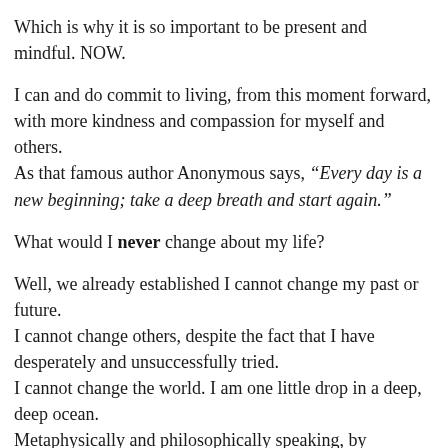Which is why it is so important to be present and mindful. NOW.
I can and do commit to living, from this moment forward, with more kindness and compassion for myself and others.
As that famous author Anonymous says, “Every day is a new beginning; take a deep breath and start again.”
What would I never change about my life?
Well, we already established I cannot change my past or future.
I cannot change others, despite the fact that I have desperately and unsuccessfully tried.
I cannot change the world. I am one little drop in a deep, deep ocean.
Metaphysically and philosophically speaking, by changing myself, those changes do ripple outward and affect the ocean of humanity. But those changes would